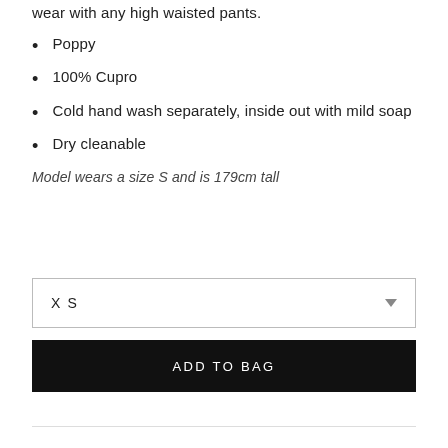wear with any high waisted pants.
Poppy
100% Cupro
Cold hand wash separately, inside out with mild soap
Dry cleanable
Model wears a size S and is 179cm tall
XS
ADD TO BAG